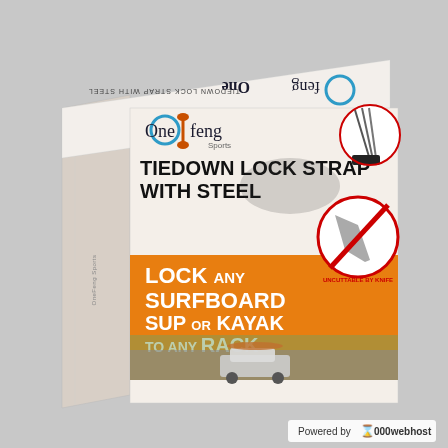[Figure (photo): Product packaging box for OneFeng Sports Tiedown Lock Strap with Steel. The box is shown at a three-quarter angle, showing the top face with mirrored/inverted OneFeng Sports logo and 'TIEDOWN LOCK STRAP WITH STEEL' text. The front face features the OneFeng Sports logo, product title 'TIEDOWN LOCK STRAP WITH STEEL', an orange band reading 'LOCK ANY SURFBOARD SUP OR KAYAK TO ANY RACK', a circular no-knife badge labeled 'UNCUTTABLE BY KNIFE', a scene of cars/kayaks at the bottom, and a small cable inset in the top right. The box side is visible on the left. Bottom right has a 'Powered by 000webhost' watermark.]